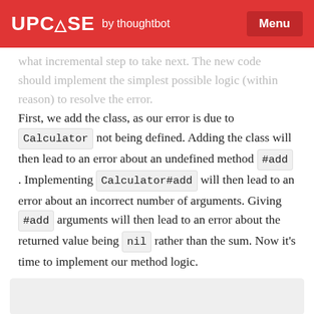UPCASE by thoughtbot  Menu
what incremental step to take next. The new code should implement the simplest possible logic (within reason) to resolve the error. First, we add the class, as our error is due to Calculator not being defined. Adding the class will then lead to an error about an undefined method #add . Implementing Calculator#add will then lead to an error about an incorrect number of arguments. Giving #add arguments will then lead to an error about the returned value being nil rather than the sum. Now it's time to implement our method logic.
[Figure (screenshot): Gray box at bottom of page, partially visible, representing a code block or screenshot area]